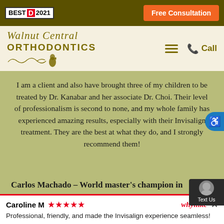BEST D 2021 | Free Consultation
[Figure (logo): Walnut Central Orthodontics logo with script text and bird illustration]
I am a client and also have brought three of my children to be treated by Dr. Kanabar and her associate Dr. Choi. Their level of professionalism is second to none, and my whole family has experienced amazing results, especially with their Invisalign treatment. They are the best at what they do, and I strongly recommend them!
Carlos Machado – World master's champion in
Caroline M ★★★★★ whyilike ×
Professional, friendly, and made the Invisalign experience seamless!